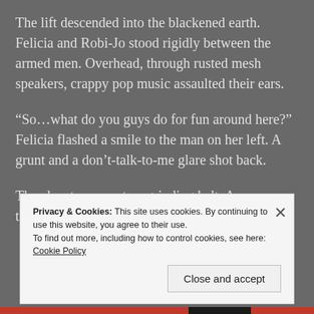The lift descended into the blackened earth. Felicia and Robi-Jo stood rigidly between the armed men. Overhead, through rusted mesh speakers, crappy pop music assaulted their ears.
“So…what do you guys do for fun around here?” Felicia flashed a smile to the man on her left. A grunt and a don’t-talk-to-me glare shot back.
The elevator came to a grinding halt. As soon as the doors opened, the guards shoved the girls out.
Privacy & Cookies: This site uses cookies. By continuing to use this website, you agree to their use. To find out more, including how to control cookies, see here: Cookie Policy